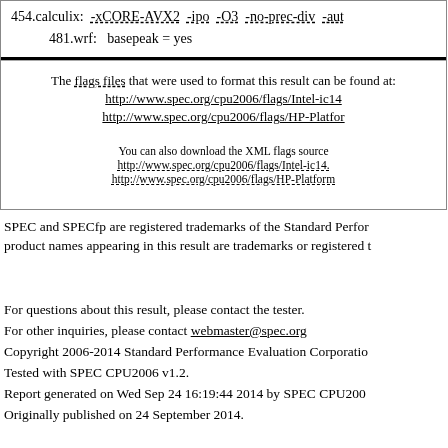454.calculix: -xCORE-AVX2 -ipo -O3 -no-prec-div -aut...
481.wrf: basepeak = yes
The flags files that were used to format this result can be found at:
http://www.spec.org/cpu2006/flags/Intel-ic14...
http://www.spec.org/cpu2006/flags/HP-Platform...
You can also download the XML flags source:
http://www.spec.org/cpu2006/flags/Intel-ic14....
http://www.spec.org/cpu2006/flags/HP-Platform...
SPEC and SPECfp are registered trademarks of the Standard Performance Evaluation Corporation. All other product names appearing in this result are trademarks or registered trademarks of their respective holders.
For questions about this result, please contact the tester.
For other inquiries, please contact webmaster@spec.org
Copyright 2006-2014 Standard Performance Evaluation Corporation
Tested with SPEC CPU2006 v1.2.
Report generated on Wed Sep 24 16:19:44 2014 by SPEC CPU2006...
Originally published on 24 September 2014.